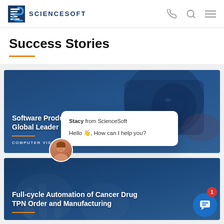ScienceSoft
Success Stories
[Figure (photo): Card with camera/image processing photo background showing: Software Products Development for a Global Leader in Image Processing, tag: COMPUTER VISION]
[Figure (photo): Card with medical/lab photo background showing: Full-cycle Automation of Cancer Drug TPN Order and Manufacturing]
[Figure (screenshot): Chat popup from Stacy from ScienceSoft: Hello, How can I help you?]